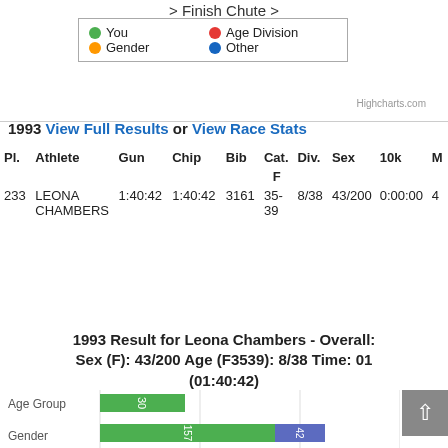> Finish Chute >
[Figure (infographic): Legend box with colored dots: You (green), Age Division (red), Gender (orange), Other (blue)]
Highcharts.com
1993 View Full Results or View Race Stats
| Pl. | Athlete | Gun | Chip | Bib | Cat. | Div. | Sex | 10k | M |
| --- | --- | --- | --- | --- | --- | --- | --- | --- | --- |
| 233 | LEONA CHAMBERS | 1:40:42 | 1:40:42 | 3161 | F 35-39 | 8/38 | 43/200 | 0:00:00 | 4 |
1993 Result for Leona Chambers - Overall: [truncated] Sex (F): 43/200 Age (F3539): 8/38 Time: 01 (01:40:42)
[Figure (bar-chart): Horizontal bar chart showing Age Group rank (green bar, value 30) and Gender rank (green bar value 157, blue/grey bar value 42)]